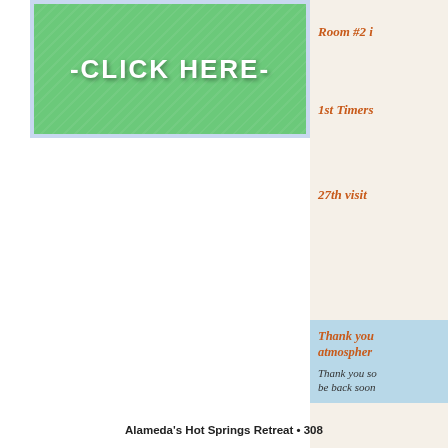[Figure (illustration): Green textured banner button with white bold text reading '-CLICK HERE-' centered, with light blue border]
Room #2 i
1st Timers
27th visit
Thank you atmosphere
Thank you so be back soon
Alameda's Hot Springs Retreat • 308